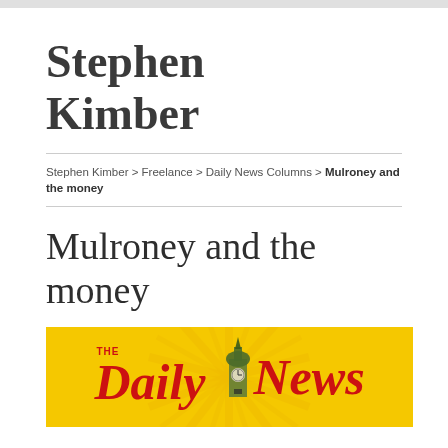Stephen Kimber
Stephen Kimber > Freelance > Daily News Columns > Mulroney and the money
Mulroney and the money
[Figure (logo): The Daily News logo on yellow background with radiating lines and clock tower illustration]
We need an inquiry now